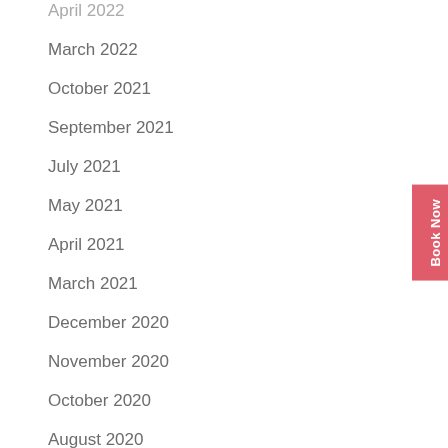April 2022
March 2022
October 2021
September 2021
July 2021
May 2021
April 2021
March 2021
December 2020
November 2020
October 2020
August 2020
July 2020
March 2020
December 2019